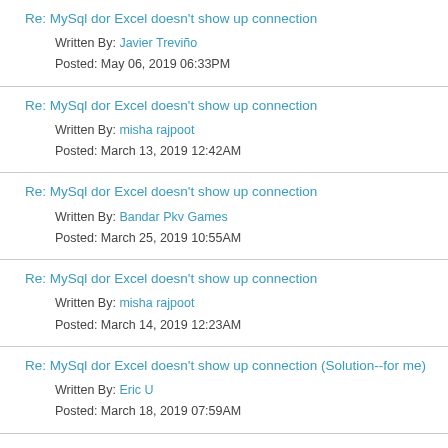Re: MySql dor Excel doesn't show up connection
Written By: Javier Treviño
Posted: May 06, 2019 06:33PM
Re: MySql dor Excel doesn't show up connection
Written By: misha rajpoot
Posted: March 13, 2019 12:42AM
Re: MySql dor Excel doesn't show up connection
Written By: Bandar Pkv Games
Posted: March 25, 2019 10:55AM
Re: MySql dor Excel doesn't show up connection
Written By: misha rajpoot
Posted: March 14, 2019 12:23AM
Re: MySql dor Excel doesn't show up connection (Solution--for me)
Written By: Eric U
Posted: March 18, 2019 07:59AM
Re: MySql dor Excel doesn't show up connection